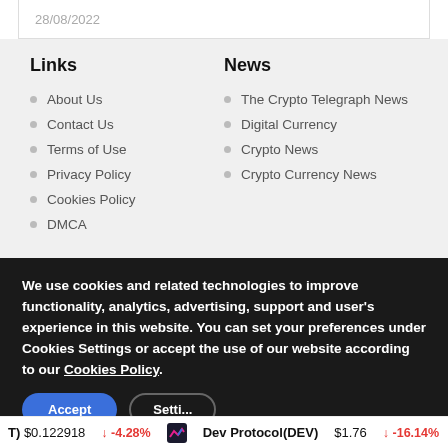28/08/2022
Links
About Us
Contact Us
Terms of Use
Privacy Policy
Cookies Policy
DMCA
News
The Crypto Telegraph News
Digital Currency
Crypto News
Crypto Currency News
We use cookies and related technologies to improve functionality, analytics, advertising, support and user's experience in this website. You can set your preferences under Cookies Settings or accept the use of our website according to our Cookies Policy.
(T) $0.122918 ↓ -4.28%   Dev Protocol(DEV) $1.76 ↓ -16.14%